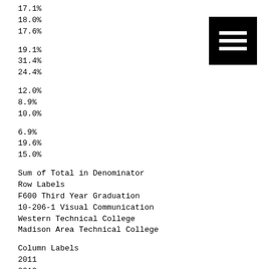17.1%
18.0%
17.6%
19.1%
31.4%
24.4%
12.0%
8.9%
10.0%
6.9%
19.6%
15.0%
Sum of Total in Denominator
Row Labels
F600 Third Year Graduation
10-206-1 Visual Communication
Western Technical College
Madison Area Technical College
Column Labels
2011
2012

2013

2014
[Figure (other): Black square icon with three horizontal white lines (hamburger/menu icon)]